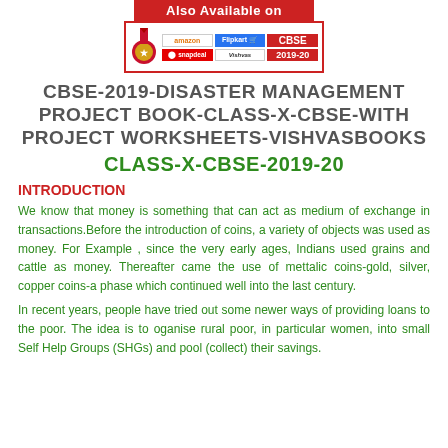[Figure (logo): Also Available on banner with Amazon, Flipkart, Snapdeal, Vishvas platforms and CBSE 2019-20 badge]
CBSE-2019-DISASTER MANAGEMENT PROJECT BOOK-CLASS-X-CBSE-WITH PROJECT WORKSHEETS-VISHVASBOOKS
CLASS-X-CBSE-2019-20
INTRODUCTION
We know that money is something that can act as medium of exchange in transactions.Before the introduction of coins, a variety of objects was used as money. For Example , since the very early ages, Indians used grains and cattle as money. Thereafter came the use of mettalic coins-gold, silver, copper coins-a phase which continued well into the last century.
In recent years, people have tried out some newer ways of providing loans to the poor. The idea is to oganise rural poor, in particular women, into small Self Help Groups (SHGs) and pool (collect) their savings.